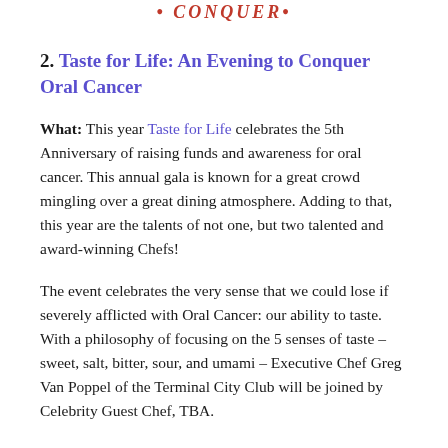CONQUER
2. Taste for Life: An Evening to Conquer Oral Cancer
What: This year Taste for Life celebrates the 5th Anniversary of raising funds and awareness for oral cancer. This annual gala is known for a great crowd mingling over a great dining atmosphere. Adding to that, this year are the talents of not one, but two talented and award-winning Chefs!
The event celebrates the very sense that we could lose if severely afflicted with Oral Cancer: our ability to taste. With a philosophy of focusing on the 5 senses of taste – sweet, salt, bitter, sour, and umami – Executive Chef Greg Van Poppel of the Terminal City Club will be joined by Celebrity Guest Chef, TBA.